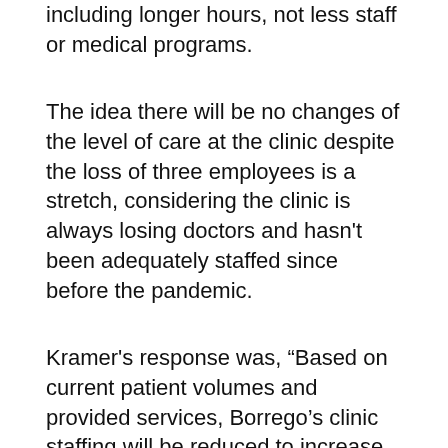including longer hours, not less staff or medical programs.
The idea there will be no changes of the level of care at the clinic despite the loss of three employees is a stretch, considering the clinic is always losing doctors and hasn't been adequately staffed since before the pandemic.
Kramer's response was, “Based on current patient volumes and provided services, Borrego’s clinic staffing will be reduced to increase care team effectiveness and improve patient care.”
When asked about doctors at the Borrego Springs Clinic? BH reported that Nurse Practitioner Michael Ramos is currently staffing the Clinic, Mondays through Thursdays, with Dr. Jose Hernandez on Fridays. Dr. Brenda Figueroa continues to provide pediatric services, continuing to serve the...